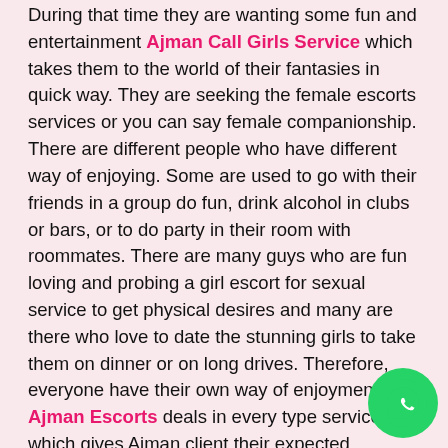During that time they are wanting some fun and entertainment Ajman Call Girls Service which takes them to the world of their fantasies in quick way. They are seeking the female escorts services or you can say female companionship. There are different people who have different way of enjoying. Some are used to go with their friends in a group do fun, drink alcohol in clubs or bars, or to do party in their room with roommates. There are many guys who are fun loving and probing a girl escort for sexual service to get physical desires and many are there who love to date the stunning girls to take them on dinner or on long drives. Therefore, everyone have their own way of enjoyment and Ajman Escorts deals in every type services which gives Ajman client their expected satisfaction.
Ajman Indian Escort excellent work with getting Perfect partner @ O5694O71O5
Ajman Indian Escorts is also a industrial city which...